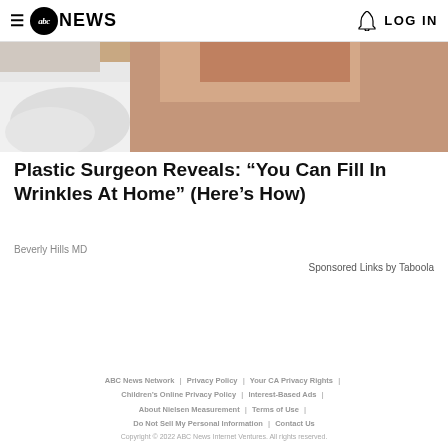abc NEWS  LOG IN
[Figure (photo): Partial photo of a person in a white shirt, showing skin/face area in close-up, related to plastic surgery article]
Plastic Surgeon Reveals: “You Can Fill In Wrinkles At Home” (Here’s How)
Beverly Hills MD
Sponsored Links by Taboola
ABC News Network | Privacy Policy | Your CA Privacy Rights | Children’s Online Privacy Policy | Interest-Based Ads | About Nielsen Measurement | Terms of Use | Do Not Sell My Personal Information | Contact Us
Copyright © 2022 ABC News Internet Ventures. All rights reserved.